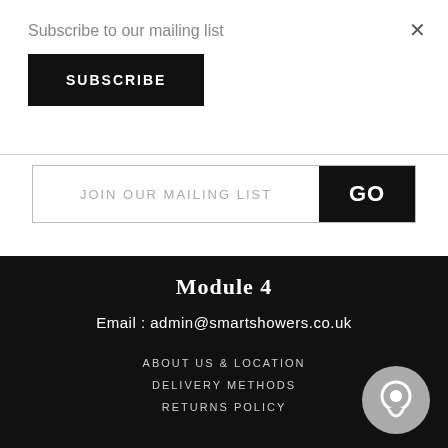Subscribe to our mailing list
×
SUBSCRIBE
JOIN OUR MAILING LIST
GO
Module 4
Email : admin@smartshowers.co.uk
ABOUT US & LOCATION
DELIVERY METHODS
RETURNS POLICY